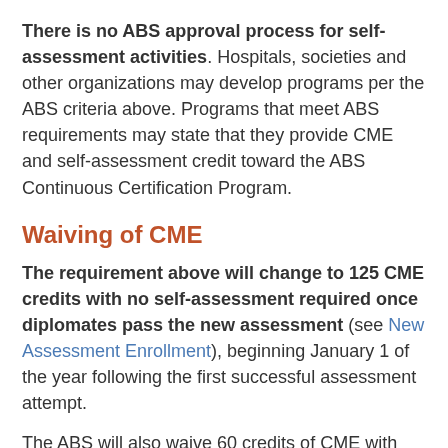There is no ABS approval process for self-assessment activities. Hospitals, societies and other organizations may develop programs per the ABS criteria above. Programs that meet ABS requirements may state that they provide CME and self-assessment credit toward the ABS Continuous Certification Program.
Waiving of CME
The requirement above will change to 125 CME credits with no self-assessment required once diplomates pass the new assessment (see New Assessment Enrollment), beginning January 1 of the year following the first successful assessment attempt.
The ABS will also waive 60 credits of CME with self-assessment for new diplomates who pass an initial certifying exam. A waiver for 60 credits will appear in your CME Repository.
If you achieved initial certification by another ABMS board, you may also waive 60 credits of CME with self-assessment. The 60 credits waiver should appear in your CME Repository.